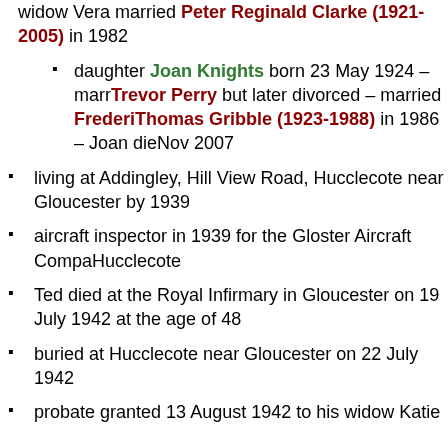widow Vera married Peter Reginald Clarke (1921-2005) in 1982
daughter Joan Knights born 23 May 1924 – married Trevor Perry but later divorced – married Frederick Thomas Gribble (1923-1988) in 1986 – Joan died Nov 2007
living at Addingley, Hill View Road, Hucclecote near Gloucester by 1939
aircraft inspector in 1939 for the Gloster Aircraft Company, Hucclecote
Ted died at the Royal Infirmary in Gloucester on 19 July 1942 at the age of 48
buried at Hucclecote near Gloucester on 22 July 1942
probate granted 13 August 1942 to his widow Katie